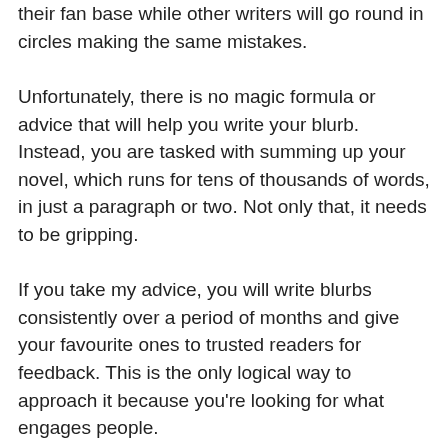their fan base while other writers will go round in circles making the same mistakes.
Unfortunately, there is no magic formula or advice that will help you write your blurb. Instead, you are tasked with summing up your novel, which runs for tens of thousands of words, in just a paragraph or two. Not only that, it needs to be gripping.
If you take my advice, you will write blurbs consistently over a period of months and give your favourite ones to trusted readers for feedback. This is the only logical way to approach it because you're looking for what engages people.
Remember, nobody can write a better blurb for